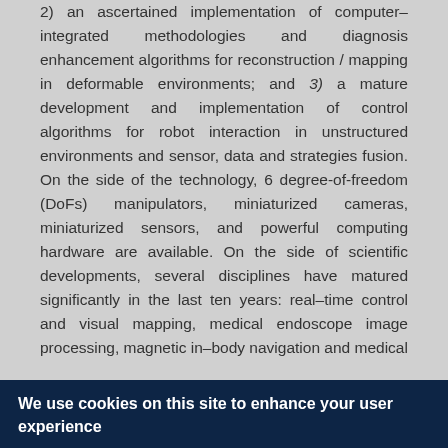2) an ascertained implementation of computer–integrated methodologies and diagnosis enhancement algorithms for reconstruction / mapping in deformable environments; and 3) a mature development and implementation of control algorithms for robot interaction in unstructured environments and sensor, data and strategies fusion. On the side of the technology, 6 degree-of-freedom (DoFs) manipulators, miniaturized cameras, miniaturized sensors, and powerful computing hardware are available. On the side of scientific developments, several disciplines have matured significantly in the last ten years: real–time control and visual mapping, medical endoscope image processing, magnetic in–body navigation and medical
We use cookies on this site to enhance your user experience